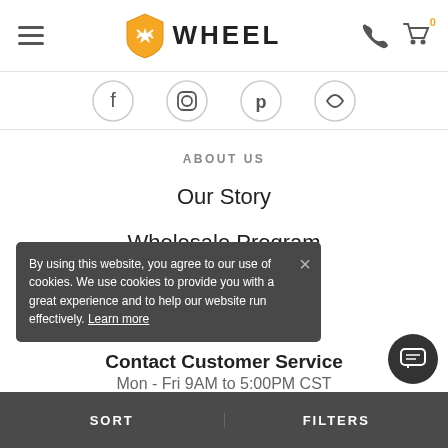WHEEL — navigation header with hamburger menu, logo, phone icon, cart icon (0)
[Figure (screenshot): Cropped social media icons strip (partially visible)]
ABOUT US
Our Story
Wholesale Program
Careers
60510
Contact Customer Service
Mon - Fri 9AM to 5:00PM CST
By using this website, you agree to our use of cookies. We use cookies to provide you with a great experience and to help our website run effectively. Learn more
SORT   FILTERS